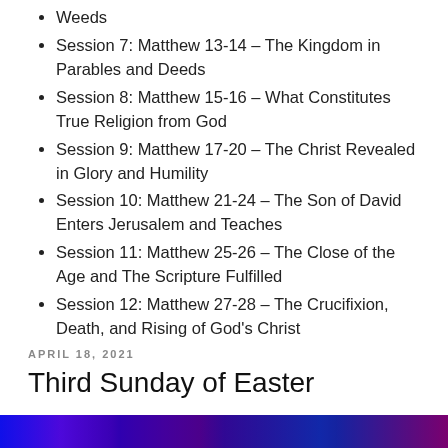Weeds
Session 7: Matthew 13-14 – The Kingdom in Parables and Deeds
Session 8: Matthew 15-16 – What Constitutes True Religion from God
Session 9: Matthew 17-20 – The Christ Revealed in Glory and Humility
Session 10: Matthew 21-24 – The Son of David Enters Jerusalem and Teaches
Session 11: Matthew 25-26 – The Close of the Age and The Scripture Fulfilled
Session 12: Matthew 27-28 – The Crucifixion, Death, and Rising of God's Christ
APRIL 18, 2021
Third Sunday of Easter
[Figure (photo): Colorful blue and purple image bar at the bottom of the page]